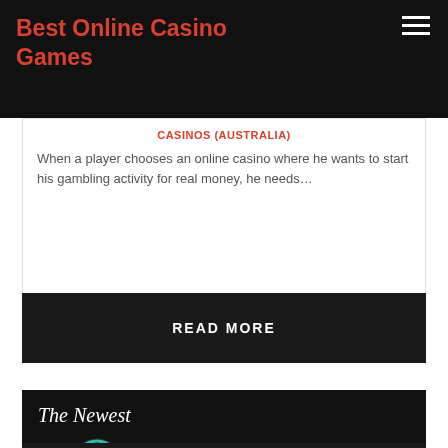Best Online Casino Games
CASINOS (AUSTRALIA)
When a player chooses an online casino where he wants to start his gambling activity for real money, he needs…
READ MORE
[Figure (illustration): The Newest Microgaming Slots promotional banner with Microgaming logo on dark background]
May 16, 2019